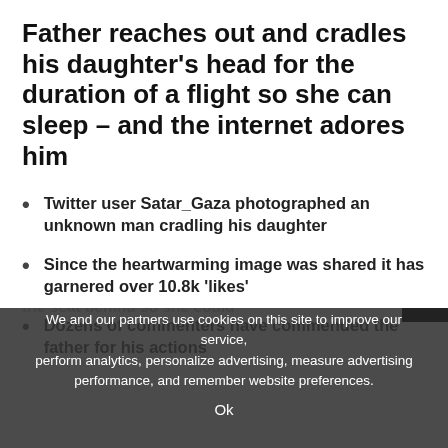Father reaches out and cradles his daughter's head for the duration of a flight so she can sleep – and the internet adores him
Twitter user Satar_Gaza photographed an unknown man cradling his daughter
Since the heartwarming image was shared it has garnered over 10.8k 'likes'
Dozens of commenters have commended the father for his actions
A loving father was spotted by a nearby traveller reaching over the seat in front of him and took the seat behind so she could
We and our partners use cookies on this site to improve our service, perform analytics, personalize advertising, measure advertising performance, and remember website preferences.
Ok